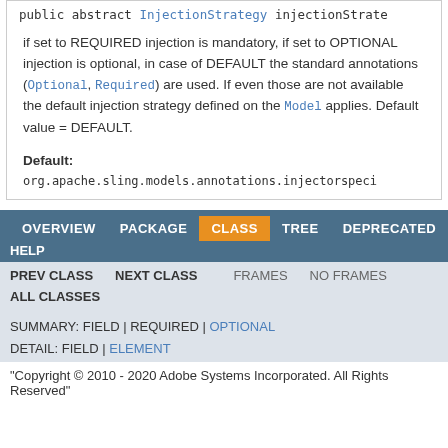public abstract InjectionStrategy injectionStrate
if set to REQUIRED injection is mandatory, if set to OPTIONAL injection is optional, in case of DEFAULT the standard annotations (Optional, Required) are used. If even those are not available the default injection strategy defined on the Model applies. Default value = DEFAULT.
Default:
org.apache.sling.models.annotations.injectorspeci
OVERVIEW  PACKAGE  CLASS  TREE  DEPRECATED  INDEX  HELP
PREV CLASS  NEXT CLASS  FRAMES  NO FRAMES
ALL CLASSES
SUMMARY: FIELD | REQUIRED | OPTIONAL
DETAIL: FIELD | ELEMENT
"Copyright © 2010 - 2020 Adobe Systems Incorporated. All Rights Reserved"